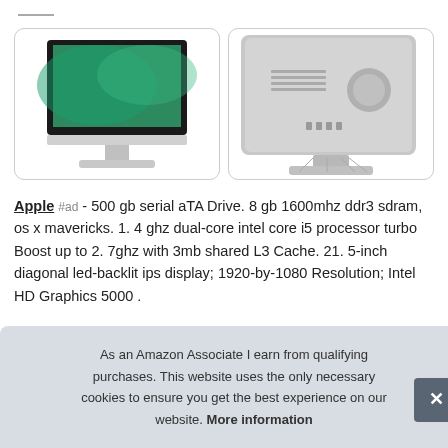[Figure (photo): iMac front view showing screen with green wallpaper and silver stand]
[Figure (photo): iMac rear view showing back panel with ports and stand]
Apple #ad - 500 gb serial aTA Drive. 8 gb 1600mhz ddr3 sdram, os x mavericks. 1. 4 ghz dual-core intel core i5 processor turbo Boost up to 2. 7ghz with 3mb shared L3 Cache. 21. 5-inch diagonal led-backlit ips display; 1920-by-1080 Resolution; Intel HD Graphics 5000 .
As an Amazon Associate I earn from qualifying purchases. This website uses the only necessary cookies to ensure you get the best experience on our website. More information